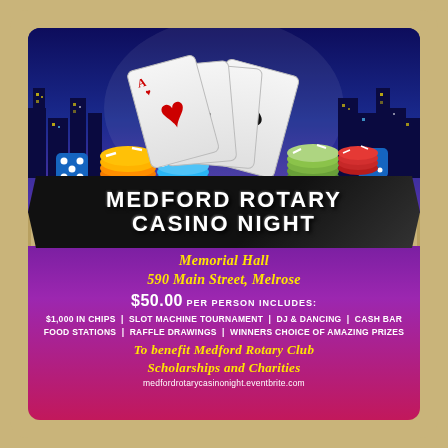[Figure (illustration): Casino-themed flyer image with playing cards (four aces), poker chips in multiple colors, dice, and city skyline at night with blue/purple sky background]
MEDFORD ROTARY CASINO NIGHT
Memorial Hall
590 Main Street, Melrose
$50.00 Per Person includes:
$1,000 IN CHIPS | SLOT MACHINE TOURNAMENT | DJ & DANCING | CASH BAR
FOOD STATIONS | RAFFLE DRAWINGS | WINNERS CHOICE OF AMAZING PRIZES
To benefit Medford Rotary Club Scholarships and Charities
medfordrotarycasinonight.eventbrite.com